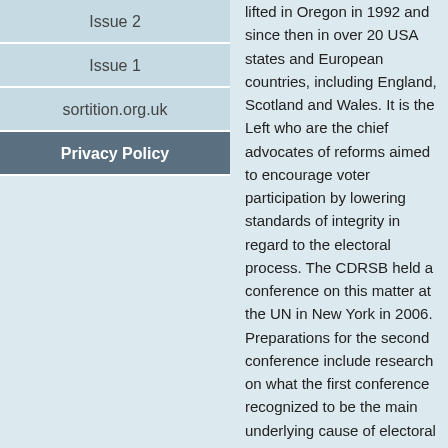Issue 2
Issue 1
sortition.org.uk
Privacy Policy
lifted in Oregon in 1992 and since then in over 20 USA states and European countries, including England, Scotland and Wales. It is the Left who are the chief advocates of reforms aimed to encourage voter participation by lowering standards of integrity in regard to the electoral process. The CDRSB held a conference on this matter at the UN in New York in 2006. Preparations for the second conference include research on what the first conference recognized to be the main underlying cause of electoral fraud and malpractice: the conflict between conservatism and radicalism.
It may be reasonably stated that most conflict in the last two centuries